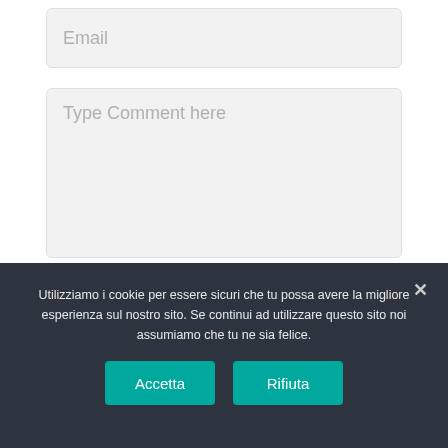[Figure (screenshot): Email input field with placeholder text 'Email' on a light gray background with rounded corners]
[Figure (screenshot): Comment textarea with placeholder text 'Type Comment here' on a light gray background with rounded corners]
[Figure (screenshot): Post Comment button with dark navy background and bold text]
Utilizziamo i cookie per essere sicuri che tu possa avere la migliore esperienza sul nostro sito. Se continui ad utilizzare questo sito noi assumiamo che tu ne sia felice.
Accetta
Rifiuta